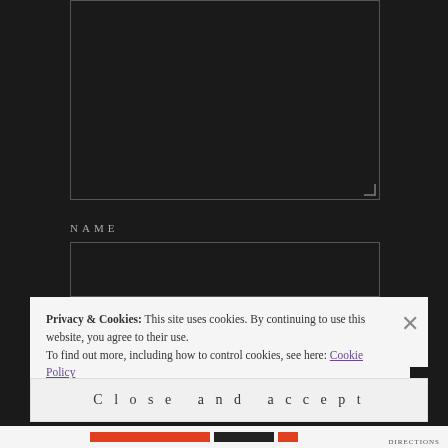[Figure (screenshot): Dark-themed web form with a textarea at the top, followed by NAME and EMAIL labeled input fields on a near-black background]
NAME
EMAIL
Privacy & Cookies: This site uses cookies. By continuing to use this website, you agree to their use.
To find out more, including how to control cookies, see here: Cookie Policy
Close and accept